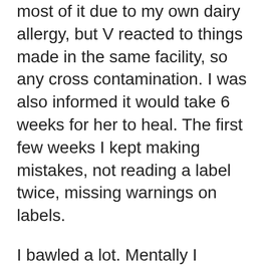most of it due to my own dairy allergy, but V reacted to things made in the same facility, so any cross contamination. I was also informed it would take 6 weeks for her to heal. The first few weeks I kept making mistakes, not reading a label twice, missing warnings on labels.
I bawled a lot. Mentally I struggled. I felt like it was my fault. I was failing her. I hurt my own baby. And it got worse from there.
I noticed after 4 weeks that she was getting better, but kept getting worse again repeatedly. Crazy enough we noticed a link